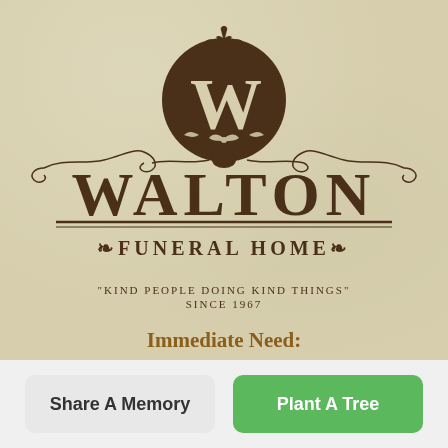[Figure (logo): Walton Funeral Home logo: circular emblem with W monogram and decorative flourishes above the WALTON wordmark and FUNERAL HOME text]
"KIND PEOPLE DOING KIND THINGS" SINCE 1967
Immediate Need:
(757) 427-0988
Share A Memory
Plant A Tree